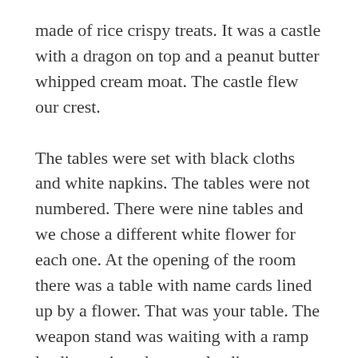made of rice crispy treats. It was a castle with a dragon on top and a peanut butter whipped cream moat. The castle flew our crest.
The tables were set with black cloths and white napkins. The tables were not numbered. There were nine tables and we chose a different white flower for each one. At the opening of the room there was a table with name cards lined up by a flower. That was your table. The weapon stand was waiting with a ramp leading to it and a ramp leading away.
Everything was gorgeous. Everything was exactly how we planned it.